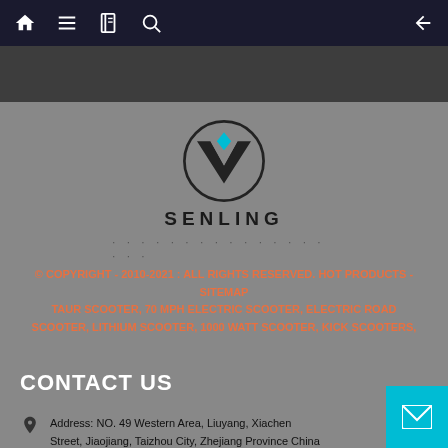Navigation bar with home, menu, notebook, search icons and back arrow
[Figure (logo): Senling brand logo — circular emblem with stylized W/V shape and blue diamond top, with text SENLING below]
© COPYRIGHT - 2010-2021 : ALL RIGHTS RESERVED. HOT PRODUCTS - SITEMAP TAUR SCOOTER, 70 MPH ELECTRIC SCOOTER, ELECTRIC ROAD SCOOTER, LITHIUM SCOOTER, 1000 WATT SCOOTER, KICK SCOOTERS,
CONTACT US
Address: NO. 49 Western Area, Liuyang, Xiachen Street, Jiaojiang, Taizhou City, Zhejiang Province China